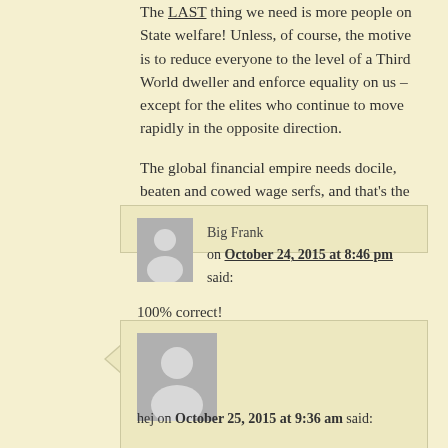The LAST thing we need is more people on State welfare! Unless, of course, the motive is to reduce everyone to the level of a Third World dweller and enforce equality on us – except for the elites who continue to move rapidly in the opposite direction.
The global financial empire needs docile, beaten and cowed wage serfs, and that's the plan they are implementing.
Big Frank on October 24, 2015 at 8:46 pm said: 100% correct!
hej on October 25, 2015 at 9:36 am said: